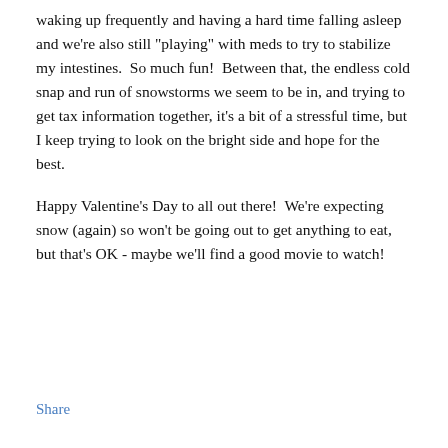waking up frequently and having a hard time falling asleep and we're also still "playing" with meds to try to stabilize my intestines.  So much fun!  Between that, the endless cold snap and run of snowstorms we seem to be in, and trying to get tax information together, it's a bit of a stressful time, but I keep trying to look on the bright side and hope for the best.
Happy Valentine's Day to all out there!  We're expecting snow (again) so won't be going out to get anything to eat, but that's OK - maybe we'll find a good movie to watch!
Share